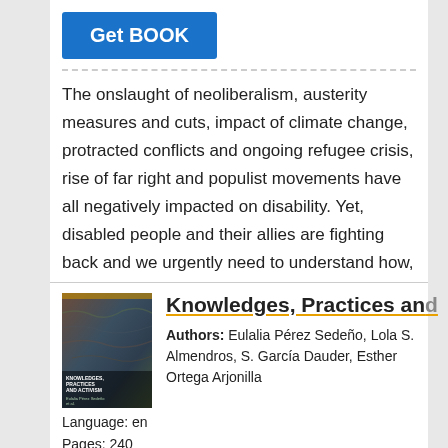Get BOOK
The onslaught of neoliberalism, austerity measures and cuts, impact of climate change, protracted conflicts and ongoing refugee crisis, rise of far right and populist movements have all negatively impacted on disability. Yet, disabled people and their allies are fighting back and we urgently need to understand how, where and what
[Figure (illustration): Book cover thumbnail for Knowledges, Practices and Activism with dark textured background]
Knowledges, Practices and...
Authors: Eulalia Pérez Sedeño, Lola S. Almendros, S. García Dauder, Esther Ortega Arjonilla
Language: en
Pages: 240
Categories: Social Science